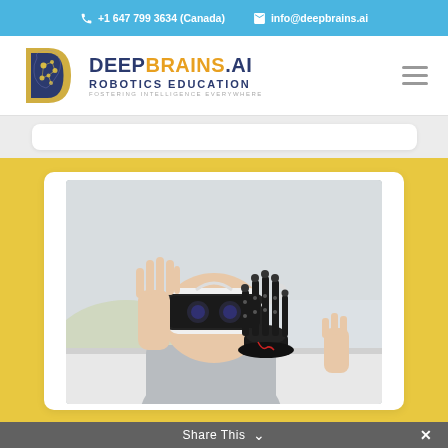+1 647 799 3634 (Canada)   info@deepbrains.ai
[Figure (logo): DeepBrains.AI Robotics Education logo with brain/D icon and text. Tagline: Fostering Intelligence Everywhere]
[Figure (photo): Child wearing VR headset with hand raised next to a robotic hand/arm device on a table]
Share This ˅  ✕